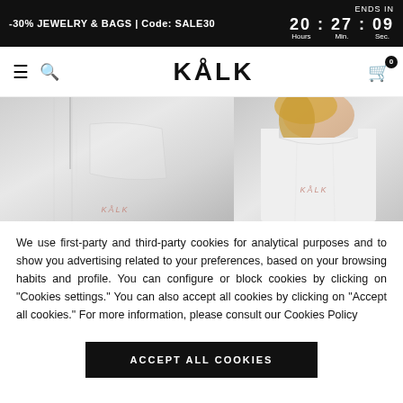-30% JEWELRY & BAGS | Code: SALE30 | ENDS IN 20 : 27 : 09 Hours Min. Sec.
[Figure (logo): KALK brand logo in bold uppercase letters with navigation icons (hamburger menu, search, cart with 0 badge)]
[Figure (photo): Two product images side by side: left shows white sweatpants detail with rose gold KALK embroidery, right shows woman wearing white sleeveless top with rose gold KALK embroidery]
We use first-party and third-party cookies for analytical purposes and to show you advertising related to your preferences, based on your browsing habits and profile. You can configure or block cookies by clicking on “Cookies settings.” You can also accept all cookies by clicking on “Accept all cookies.” For more information, please consult our Cookies Policy
ACCEPT ALL COOKIES